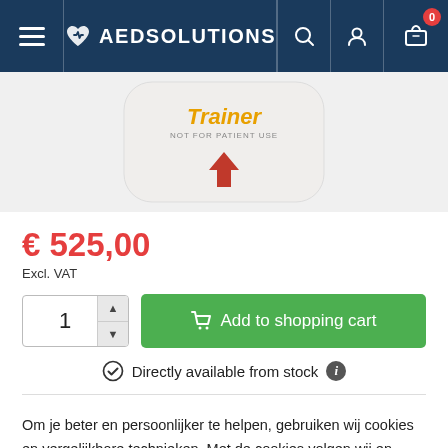AED SOLUTIONS
[Figure (photo): Product image of an AED Trainer device, white with yellow 'Trainer - NOT FOR PATIENT USE' label and a red arrow pointing down. Partial view showing top portion of the device.]
€ 525,00
Excl. VAT
Add to shopping cart
Directly available from stock
Om je beter en persoonlijker te helpen, gebruiken wij cookies en vergelijkbare technieken. Met de cookies volgen wij en derde partijen jouw internetgedrag binnen onze site. Bekijk ons privacy beleid.
Ik begrijp het